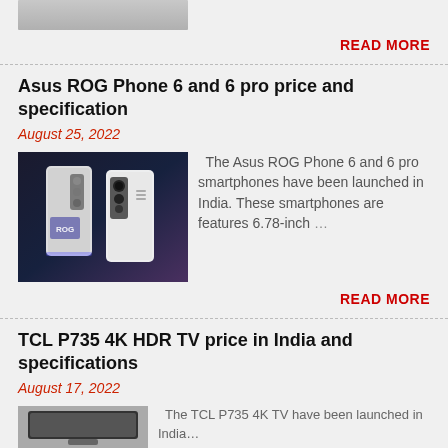[Figure (photo): Partial top thumbnail image visible at top of page]
READ MORE
Asus ROG Phone 6 and 6 pro price and specification
August 25, 2022
[Figure (photo): Asus ROG Phone 6 and 6 Pro smartphones shown from back, dark blue/purple background]
The Asus ROG Phone 6 and 6 pro smartphones have been launched in India. These smartphones are features 6.78-inch …
READ MORE
TCL P735 4K HDR TV price in India and specifications
August 17, 2022
[Figure (photo): Partial thumbnail image of TCL P735 4K HDR TV at bottom of page]
The TCL P735 4K TV have been launched in India…